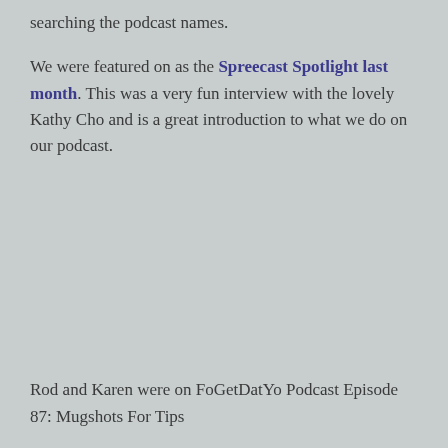searching the podcast names.
We were featured on as the Spreecast Spotlight last month. This was a very fun interview with the lovely Kathy Cho and is a great introduction to what we do on our podcast.
Rod and Karen were on FoGetDatYo Podcast Episode 87: Mugshots For Tips